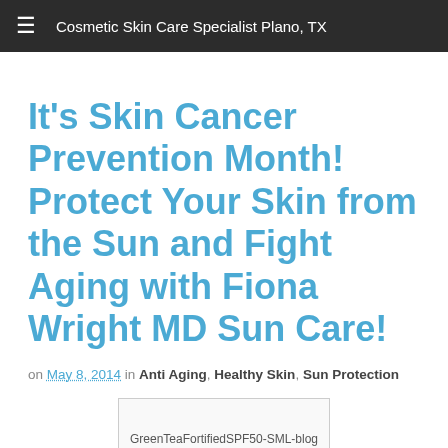≡  Cosmetic Skin Care Specialist Plano, TX
It's Skin Cancer Prevention Month! Protect Your Skin from the Sun and Fight Aging with Fiona Wright MD Sun Care!
on May 8, 2014 in Anti Aging, Healthy Skin, Sun Protection
[Figure (photo): GreenTeaFortifiedSPF50-SML-blog image placeholder]